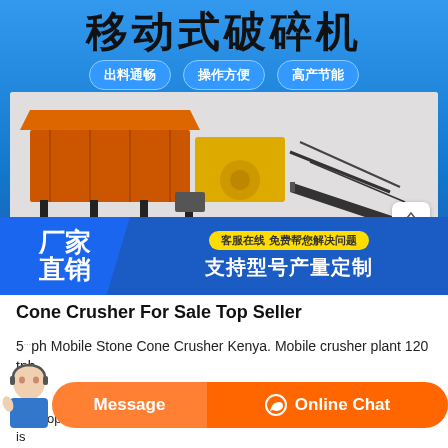[Figure (photo): Chinese advertisement banner for 移动式破碎机 (Mobile Crusher) with blue background. Shows three feature pills: 出料通畅, 操作方便, 高产节能. Center shows an orange/black mobile stone crusher machine photo. Bottom has manufacturer direct sales text and customer service banner. TOP scroll button visible.]
Cone Crusher For Sale Top Seller
5...ph Mobile Stone Cone Crusher Kenya. Mobile crusher plant 120 tph
development in benin guinea kenya senegal and south africa there what is